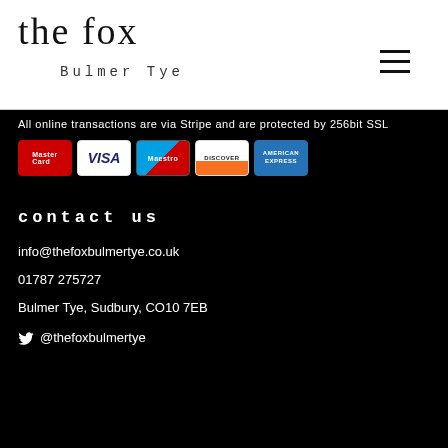the fox
Bulmer Tye
[Figure (logo): Hamburger menu icon (three horizontal lines)]
All online transactions are via Stripe and are protected by 256bit SSL
[Figure (illustration): Payment card logos: MasterCard, VISA, Maestro, Discover, American Express]
contact us
info@thefoxbulmertye.co.uk
01787 275727
Bulmer Tye, Sudbury, CO10 7EB
@thefoxbulmertye